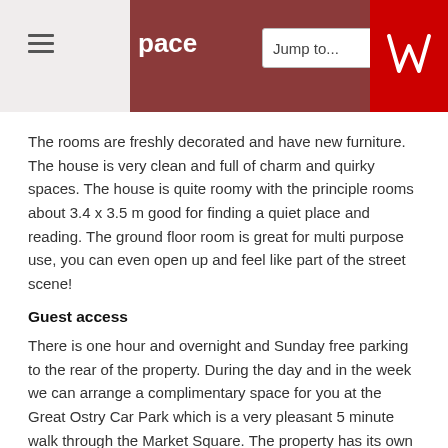pace  Jump to...
The rooms are freshly decorated and have new furniture. The house is very clean and full of charm and quirky spaces. The house is quite roomy with the principle rooms about 3.4 x 3.5 m good for finding a quiet place and reading. The ground floor room is great for multi purpose use, you can even open up and feel like part of the street scene!
Guest access
There is one hour and overnight and Sunday free parking to the rear of the property. During the day and in the week we can arrange a complimentary space for you at the Great Ostry Car Park which is a very pleasant 5 minute walk through the Market Square. The property has its own front door to the small square that links the High Street. There is very little noise at the property.
Other things to note